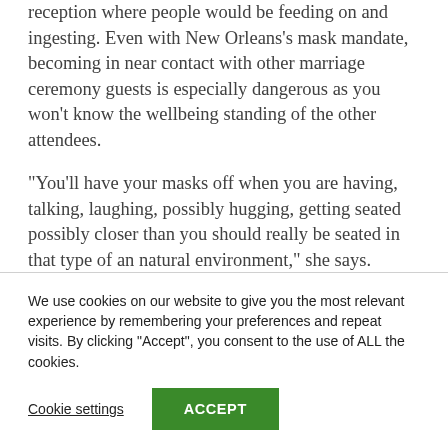reception where people would be feeding on and ingesting. Even with New Orleans's mask mandate, becoming in near contact with other marriage ceremony guests is especially dangerous as you won't know the wellbeing standing of the other attendees.
“You’ll have your masks off when you are having, talking, laughing, possibly hugging, getting seated possibly closer than you should really be seated in that type of an natural environment,” she says.
We use cookies on our website to give you the most relevant experience by remembering your preferences and repeat visits. By clicking “Accept”, you consent to the use of ALL the cookies.
Cookie settings
ACCEPT